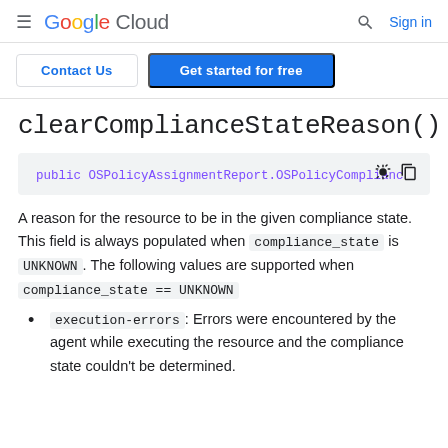Google Cloud — Search — Sign in
Contact Us | Get started for free
clearComplianceStateReason()
[Figure (screenshot): Code block showing: public OSPolicyAssignmentReport.OSPolicyComplianc]
A reason for the resource to be in the given compliance state. This field is always populated when compliance_state is UNKNOWN. The following values are supported when compliance_state == UNKNOWN
execution-errors: Errors were encountered by the agent while executing the resource and the compliance state couldn't be determined.